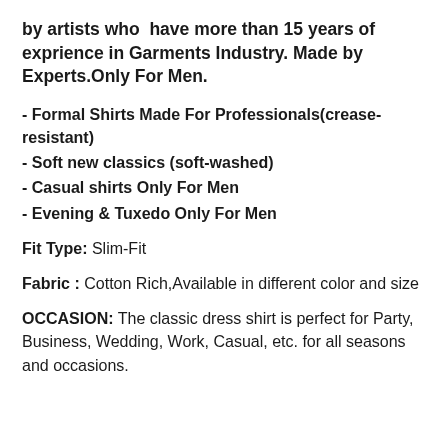by artists who have more than 15 years of exprience in Garments Industry. Made by Experts.Only For Men.
- Formal Shirts Made For Professionals(crease-resistant)
- Soft new classics (soft-washed)
- Casual shirts Only For Men
- Evening & Tuxedo Only For Men
Fit Type: Slim-Fit
Fabric : Cotton Rich,Available in different color and size
OCCASION: The classic dress shirt is perfect for Party, Business, Wedding, Work, Casual, etc. for all seasons and occasions.